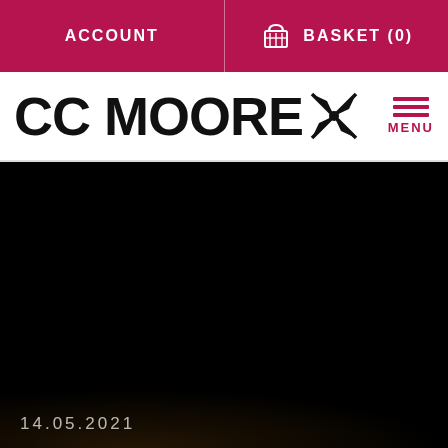ACCOUNT | BASKET (0)
CC MOORE
[Figure (screenshot): CC Moore website screenshot showing header navigation with ACCOUNT and BASKET (0) links on a crimson background, CC MOORE logo with stylized pinwheel icon in black, a hamburger MENU button in crimson on the right, and a large dark/black main image area at the bottom with the date 14.05.2021 overlaid in the lower left corner.]
14.05.2021